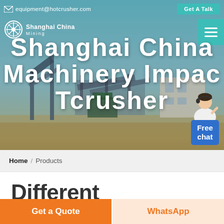equipment@hotcrusher.com   Get A Talk
[Figure (screenshot): Hero banner with mining machinery/equipment site background image showing industrial crushers and conveyor belts at a quarry, with teal sky. Overlaid with company logo, navigation, and large white title text.]
Shanghai China Mining Machinery Impact Tcrusher
Home / Products
Different Machines To Meet All
Get a Quote
WhatsApp